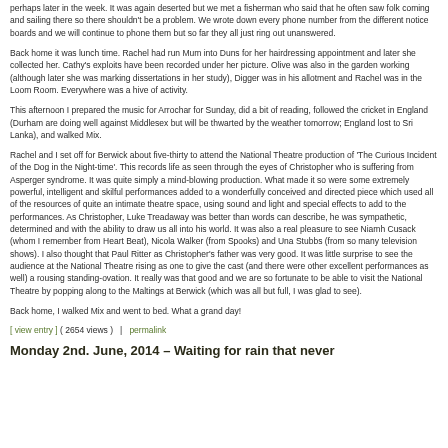perhaps later in the week. It was again deserted but we met a fisherman who said that he often saw folk coming and sailing there so there shouldn't be a problem. We wrote down every phone number from the different notice boards and we will continue to phone them but so far they all just ring out unanswered.
Back home it was lunch time. Rachel had run Mum into Duns for her hairdressing appointment and later she collected her. Cathy's exploits have been recorded under her picture. Olive was also in the garden working (although later she was marking dissertations in her study), Digger was in his allotment and Rachel was in the Loom Room. Everywhere was a hive of activity.
This afternoon I prepared the music for Arrochar for Sunday, did a bit of reading, followed the cricket in England (Durham are doing well against Middlesex but will be thwarted by the weather tomorrow; England lost to Sri Lanka), and walked Mix.
Rachel and I set off for Berwick about five-thirty to attend the National Theatre production of 'The Curious Incident of the Dog in the Night-time'. This records life as seen through the eyes of Christopher who is suffering from Asperger syndrome. It was quite simply a mind-blowing production. What made it so were some extremely powerful, intelligent and skilful performances added to a wonderfully conceived and directed piece which used all of the resources of quite an intimate theatre space, using sound and light and special effects to add to the performances. As Christopher, Luke Treadaway was better than words can describe, he was sympathetic, determined and with the ability to draw us all into his world. It was also a real pleasure to see Niamh Cusack (whom I remember from Heart Beat), Nicola Walker (from Spooks) and Una Stubbs (from so many television shows). I also thought that Paul Ritter as Christopher's father was very good. It was little surprise to see the audience at the National Theatre rising as one to give the cast (and there were other excellent performances as well) a rousing standing-ovation. It really was that good and we are so fortunate to be able to visit the National Theatre by popping along to the Maltings at Berwick (which was all but full, I was glad to see).
Back home, I walked Mix and went to bed. What a grand day!
[ view entry ] ( 2654 views )   |   permalink
Monday 2nd. June, 2014 – Waiting for rain that never